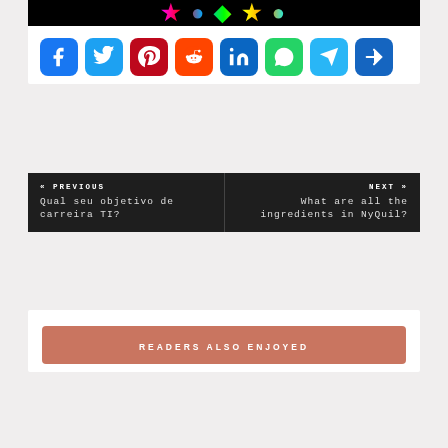[Figure (illustration): Colorful banner strip at top with multicolored star/circle/diamond symbols on black background]
[Figure (infographic): Row of 8 social media share buttons: Facebook, Twitter, Pinterest, Reddit, LinkedIn, WhatsApp, Telegram, More/Share]
« PREVIOUS
Qual seu objetivo de carreira TI?
NEXT »
What are all the ingredients in NyQuil?
READERS ALSO ENJOYED